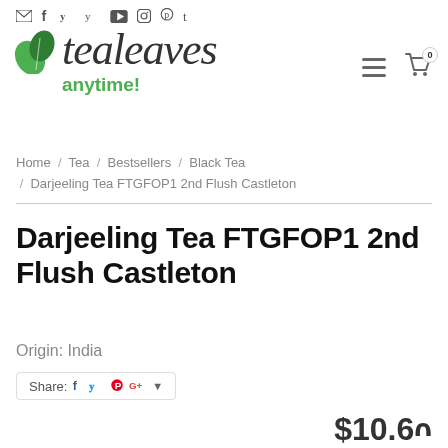✉ f y ▶ ◎ ⊕ t
[Figure (logo): Tea Leaves Anytime logo with green leaf icon and cursive text]
Home / Tea / Bestsellers / Black Tea / Darjeeling Tea FTGFOP1 2nd Flush Castleton
Darjeeling Tea FTGFOP1 2nd Flush Castleton
Origin: India
Share:
$10.60